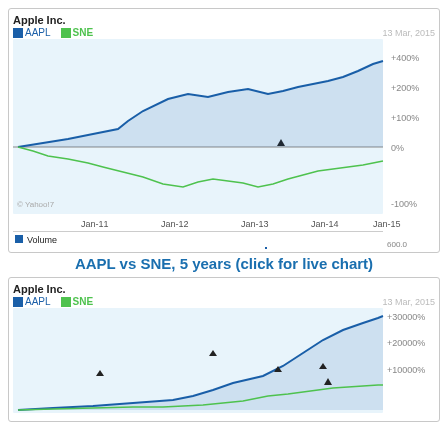[Figure (line-chart): Line chart showing percentage change of AAPL (blue) and SNE (green) over 5 years from Jan-10 to Jan-15. AAPL rises to about +400%, SNE declines then partially recovers to about -20%. Includes volume bar chart below. Date shown: 13 Mar, 2015.]
AAPL vs SNE,  5 years (click for live chart)
[Figure (line-chart): Line chart showing AAPL (blue) and SNE (green) over a longer period with percentage scale reaching +30000%, +20000%, +10000%. AAPL rises sharply. Split markers shown. Date: 13 Mar, 2015.]